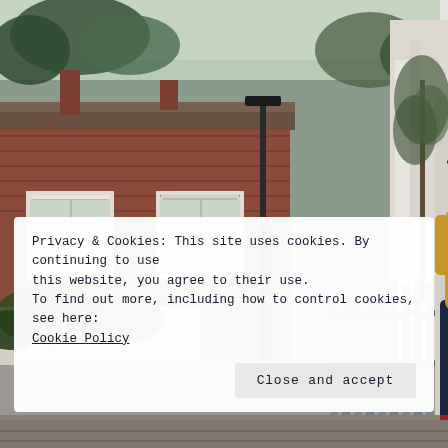[Figure (photo): A woman wearing a black cowboy hat and yellow/mustard jacket with dark jeans, leaning against a white building column. Background shows a red brick Victorian-style building, street lamp, trees, and a grey slatted fence. Urban street scene, likely London.]
Privacy & Cookies: This site uses cookies. By continuing to use this website, you agree to their use.
To find out more, including how to control cookies, see here:
Cookie Policy
Close and accept